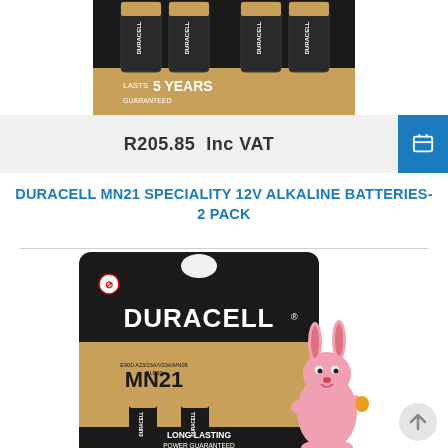[Figure (photo): Top portion of a Duracell AA battery 4-pack blister card with black background showing four batteries and 'LASTS 5 YEARS GUARANTEED' text]
R205.85  Inc VAT
DURACELL MN21 SPECIALITY 12V ALKALINE BATTERIES- 2 PACK
[Figure (photo): Duracell MN21 Speciality 12V Alkaline Batteries 2-pack product image with black blister card, Duracell bunny mascot, two small MN21 batteries shown, and 'LONG LASTING POWER GUARANTEED' text at bottom]